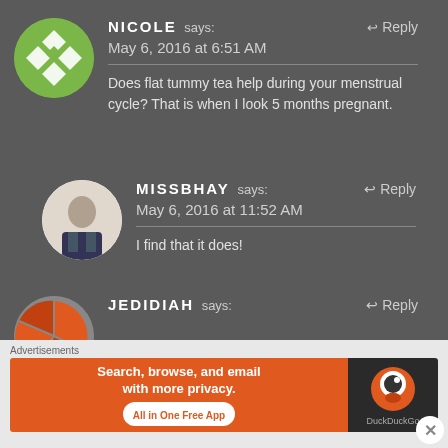[Figure (illustration): Green circular avatar with diamond/rhombus pattern for Nicole]
NICOLE says: May 6, 2016 at 6:51 AM — Reply
Does flat tummy tea help during your menstrual cycle? That is when I look 5 months pregnant.
[Figure (photo): Circular photo avatar of MissBhay]
MISSBHAY says: May 6, 2016 at 11:52 AM — Reply
I find that it does!
[Figure (illustration): Partial circular avatar with orange segments for Jedidiah]
JEDIDIAH says: — Reply
Advertisements
[Figure (screenshot): DuckDuckGo advertisement banner: Search, browse, and email with more privacy. All in One Free App]